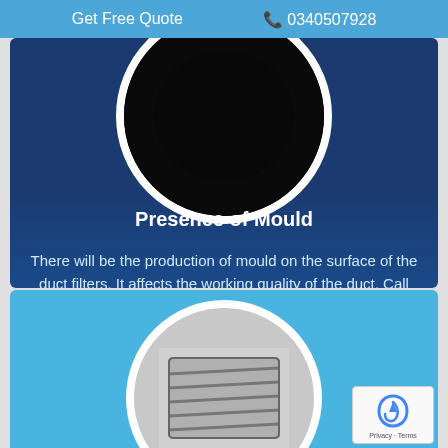Get Free Quote   0340507928
[Figure (photo): Dark circular image (mould on duct surface) with white circular border on dark blue gradient background]
Presence of Mould
There will be the production of mould on the surface of the duct filters. It affects the working quality of the duct. Call us today to get a mold-free duct.
[Figure (photo): Circular image showing HVAC vent/filter on light blue background, partially visible]